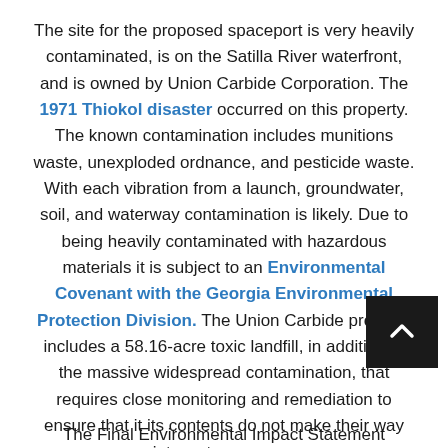The site for the proposed spaceport is very heavily contaminated, is on the Satilla River waterfront, and is owned by Union Carbide Corporation. The 1971 Thiokol disaster occurred on this property. The known contamination includes munitions waste, unexploded ordnance, and pesticide waste. With each vibration from a launch, groundwater, soil, and waterway contamination is likely. Due to being heavily contaminated with hazardous materials it is subject to an Environmental Covenant with the Georgia Environmental Protection Division. The Union Carbide property includes a 58.16-acre toxic landfill, in addition to the massive widespread contamination, that requires close monitoring and remediation to ensure that it its contents do not make their way into water sources.
The Final Environmental Impact Statement